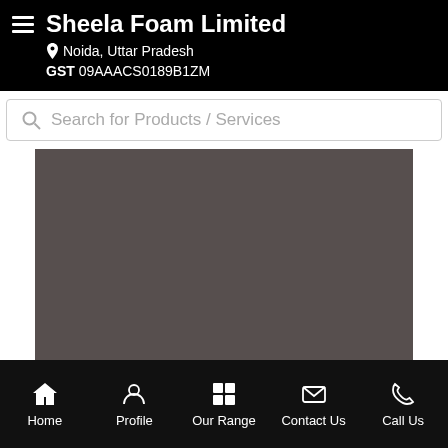Sheela Foam Limited | Noida, Uttar Pradesh | GST 09AAACS0189B1ZM
Search for Products / Services
[Figure (screenshot): Dark brownish-grey rectangular image area in the main content body]
Home | Profile | Our Range | Contact Us | Call Us